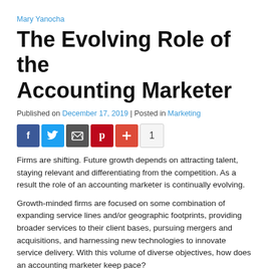Mary Yanocha
The Evolving Role of the Accounting Marketer
Published on December 17, 2019 | Posted in Marketing
[Figure (other): Social sharing buttons: Facebook, Twitter, Email, Pinterest, Plus, and a count of 1]
Firms are shifting. Future growth depends on attracting talent, staying relevant and differentiating from the competition. As a result the role of an accounting marketer is continually evolving.
Growth-minded firms are focused on some combination of expanding service lines and/or geographic footprints, providing broader services to their client bases, pursuing mergers and acquisitions, and harnessing new technologies to innovate service delivery. With this volume of diverse objectives, how does an accounting marketer keep pace?
To gain more insight into the minds and practices of accounting